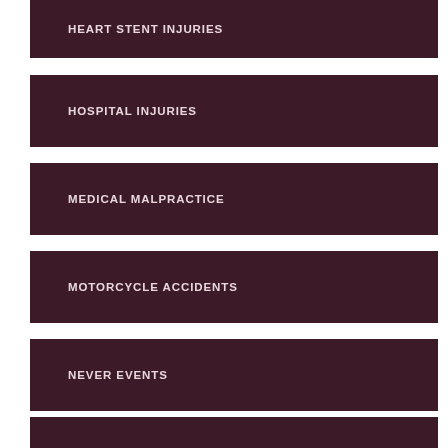HEART STENT INJURIES
HOSPITAL INJURIES
MEDICAL MALPRACTICE
MOTORCYCLE ACCIDENTS
NEVER EVENTS
NURSING HOME INJURIES
PRESCRIPTION DRUG SAFETY